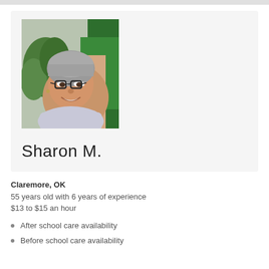[Figure (photo): Profile photo of Sharon M., a woman with short gray hair and glasses, smiling, with a green background]
Sharon M.
Claremore, OK
55 years old with 6 years of experience
$13 to $15 an hour
After school care availability
Before school care availability